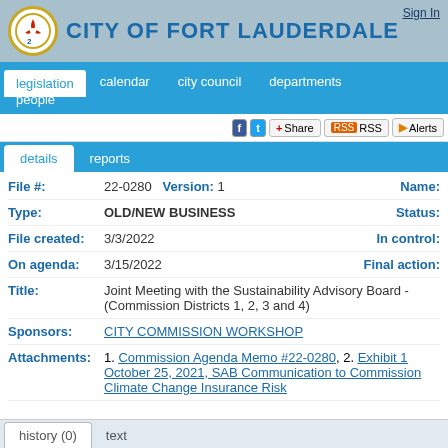CITY OF FORT LAUDERDALE
Sign In
legislation  calendar  city council  departments  people
Share  RSS  Alerts
details  reports
File #: 22-0280  Version: 1  Name:
Type: OLD/NEW BUSINESS  Status:
File created: 3/3/2022  In control:
On agenda: 3/15/2022  Final action:
Title: Joint Meeting with the Sustainability Advisory Board - (Commission Districts 1, 2, 3 and 4)
Sponsors: CITY COMMISSION WORKSHOP
Attachments: 1. Commission Agenda Memo #22-0280, 2. Exhibit 1 October 25, 2021, SAB Communication to Commission Climate Change Insurance Risk
history (0)  text